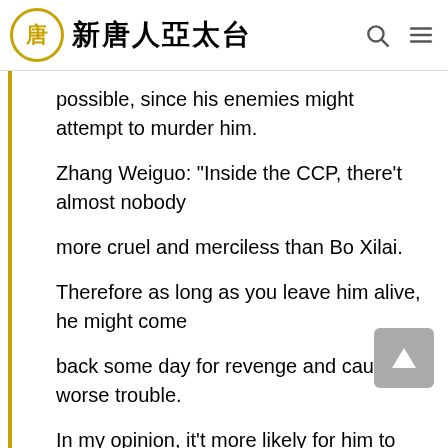新唐人亞太台
possible, since his enemies might attempt to murder him.
Zhang Weiguo: "Inside the CCP, there't almost nobody
more cruel and merciless than Bo Xilai.
Therefore as long as you leave him alive, he might come
back some day for revenge and cause worse trouble.
In my opinion, it't more likely for him to suiside or